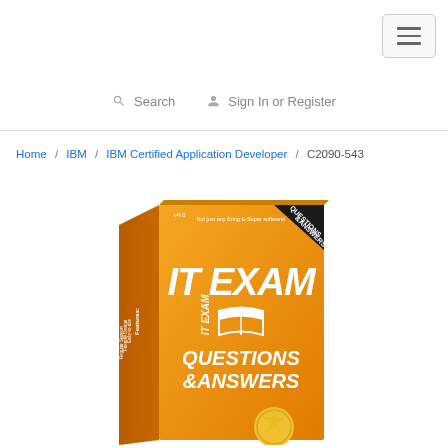Navigation bar with hamburger menu
Search   Sign In or Register
Home / IBM / IBM Certified Application Developer / C2090-543
[Figure (photo): IT Exam Questions & Answers product box in orange color with white text]